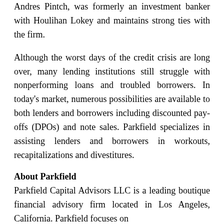Andres Pintch, was formerly an investment banker with Houlihan Lokey and maintains strong ties with the firm.
Although the worst days of the credit crisis are long over, many lending institutions still struggle with nonperforming loans and troubled borrowers. In today's market, numerous possibilities are available to both lenders and borrowers including discounted pay-offs (DPOs) and note sales. Parkfield specializes in assisting lenders and borrowers in workouts, recapitalizations and divestitures.
About Parkfield
Parkfield Capital Advisors LLC is a leading boutique financial advisory firm located in Los Angeles, California. Parkfield focuses on